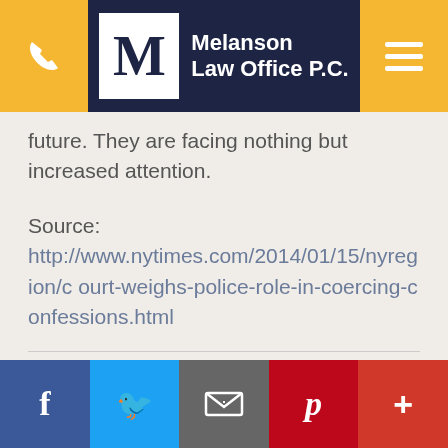[Figure (logo): Melanson Law Office P.C. logo with phone icon and hamburger menu on dark navy header]
future. They are facing nothing but increased attention.
Source:
http://www.nytimes.com/2014/01/15/nyregion/court-weighs-police-role-in-coercing-confessions.html
RECENT POSTS
[Figure (screenshot): Social sharing bar with Facebook, Twitter, Email, Pinterest, and More buttons]